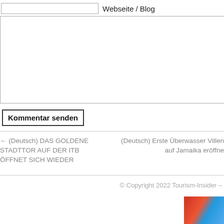Webseite / Blog
Kommentar senden
← (Deutsch) DAS GOLDENE STADTTOR AUF DER ITB ÖFFNET SICH WIEDER
(Deutsch) Erste Überwasser Villen auf Jamaika eröffne
© Copyright 2022 Tourism-Insider –